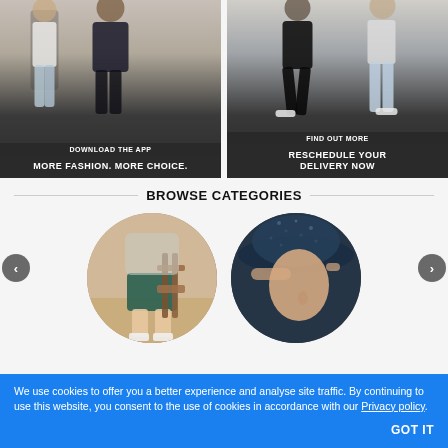[Figure (photo): Left banner: Two male models wearing jeans and jackets with dark background. Button 'DOWNLOAD THE APP' and text 'MORE FASHION. MORE CHOICE.']
[Figure (photo): Right banner: Two male models in jeans, one in black outfit mid-stride, one in light jeans. Button 'FIND OUT MORE' and text 'RESCHEDULE YOUR DELIVERY NOW']
BROWSE CATEGORIES
[Figure (photo): Left circle: Close-up of person wearing green/teal shorts holding wooden chair on a street. Navigation arrows on sides.]
[Figure (photo): Right circle: Close-up of woman wearing a dark navy blue hat, looking up.]
We use cookies to offer you a better experience and analyse site traffic. By continuing to use this website, you consent to the use of cookies in accordance with our Privacy policy.
GOT IT